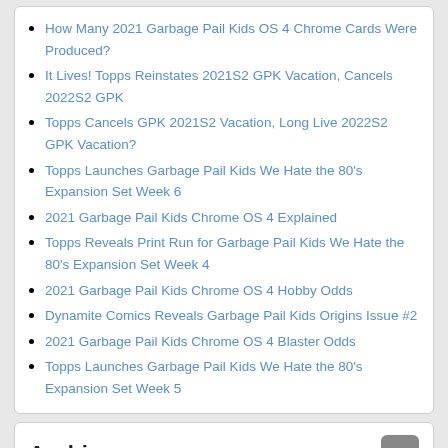How Many 2021 Garbage Pail Kids OS 4 Chrome Cards Were Produced?
It Lives! Topps Reinstates 2021S2 GPK Vacation, Cancels 2022S2 GPK
Topps Cancels GPK 2021S2 Vacation, Long Live 2022S2 GPK Vacation?
Topps Launches Garbage Pail Kids We Hate the 80's Expansion Set Week 6
2021 Garbage Pail Kids Chrome OS 4 Explained
Topps Reveals Print Run for Garbage Pail Kids We Hate the 80's Expansion Set Week 4
2021 Garbage Pail Kids Chrome OS 4 Hobby Odds
Dynamite Comics Reveals Garbage Pail Kids Origins Issue #2
2021 Garbage Pail Kids Chrome OS 4 Blaster Odds
Topps Launches Garbage Pail Kids We Hate the 80's Expansion Set Week 5
Archives